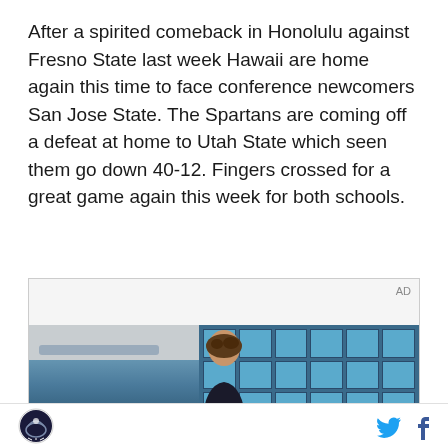After a spirited comeback in Honolulu against Fresno State last week Hawaii are home again this time to face conference newcomers San Jose State. The Spartans are coming off a defeat at home to Utah State which seen them go down 40-12. Fingers crossed for a great game again this week for both schools.
[Figure (photo): Advertisement area with 'AD' label, showing a young man standing in front of a windowed wall in what appears to be a school or sports facility.]
Site logo | Twitter icon | Facebook icon